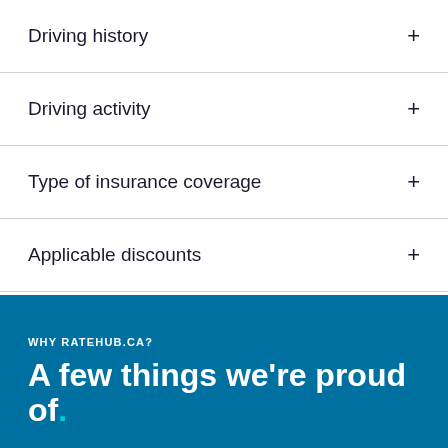Driving history
Driving activity
Type of insurance coverage
Applicable discounts
WHY RATEHUB.CA?
A few things we're proud of.